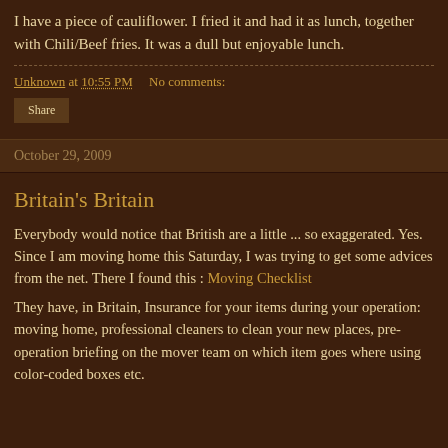I have a piece of cauliflower. I fried it and had it as lunch, together with Chili/Beef fries. It was a dull but enjoyable lunch.
Unknown at 10:55 PM   No comments:
Share
October 29, 2009
Britain's Britain
Everybody would notice that British are a little ... so exaggerated. Yes. Since I am moving home this Saturday, I was trying to get some advices from the net. There I found this : Moving Checklist
They have, in Britain, Insurance for your items during your operation: moving home, professional cleaners to clean your new places, pre-operation briefing on the mover team on which item goes where using color-coded boxes etc.